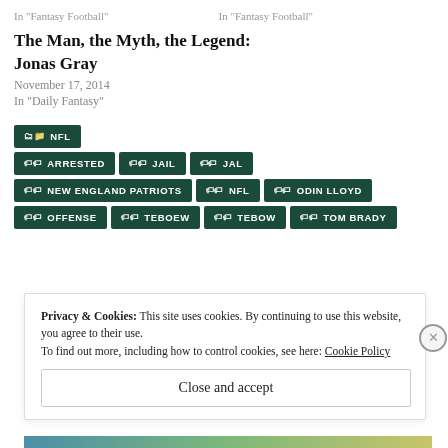In "Fantasy Football"    In "Fantasy Football"
The Man, the Myth, the Legend: Jonas Gray
November 17, 2014
In "Daily Fantasy"
NFL
ARRESTED
JAIL
JAL
NEW ENGLAND PATRIOTS
NFL
ODIN LLOYD
OFFENSE
TEBOEW
TEBOW
TOM BRADY
Privacy & Cookies: This site uses cookies. By continuing to use this website, you agree to their use.
To find out more, including how to control cookies, see here: Cookie Policy
Close and accept